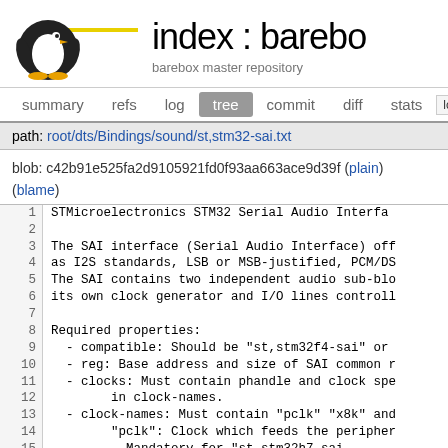[Figure (logo): Pengutronix logo with penguin SVG graphic and the text 'Pengutronix.']
index : barebo
barebox master repository
summary   refs   log   tree   commit   diff   stats   lo
path: root/dts/Bindings/sound/st,stm32-sai.txt
blob: c42b91e525fa2d9105921fd0f93aa663ace9d39f (plain) (blame)
1  STMicroelectronics STM32 Serial Audio Interfa
2
3  The SAI interface (Serial Audio Interface) off
4  as I2S standards, LSB or MSB-justified, PCM/DS
5  The SAI contains two independent audio sub-blo
6  its own clock generator and I/O lines controll
7
8  Required properties:
9    - compatible: Should be "st,stm32f4-sai" or
10   - reg: Base address and size of SAI common r
11   - clocks: Must contain phandle and clock spe
12           in clock-names.
13   - clock-names: Must contain "pclk" "x8k" and
14           "pclk": Clock which feeds the peripher
15           Mandatory for "st,stm32h7-sai
16           Not used for "st,stm32f4-sai